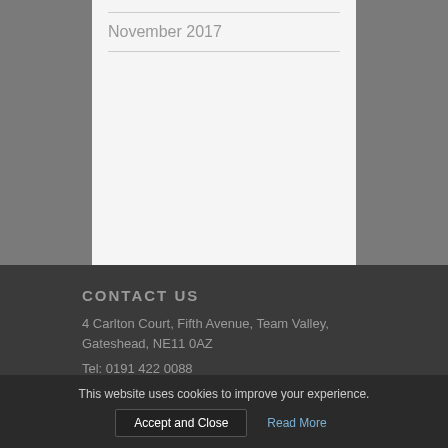November 2017
CONTACT US
4 Carlton Court, Fifth Avenue, Team Valley, Gateshead, NE11 0AZ
Tel: 0191 422 0088
This website uses cookies to improve your experience.
Accept and Close
Read More